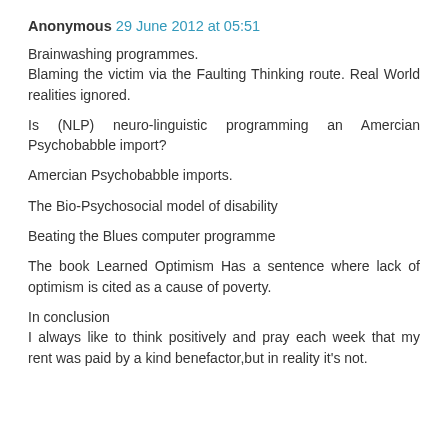Anonymous 29 June 2012 at 05:51
Brainwashing programmes.
Blaming the victim via the Faulting Thinking route. Real World realities ignored.
Is (NLP) neuro-linguistic programming an Amercian Psychobabble import?
Amercian Psychobabble imports.
The Bio-Psychosocial model of disability
Beating the Blues computer programme
The book Learned Optimism Has a sentence where lack of optimism is cited as a cause of poverty.
In conclusion
I always like to think positively and pray each week that my rent was paid by a kind benefactor,but in reality it's not.